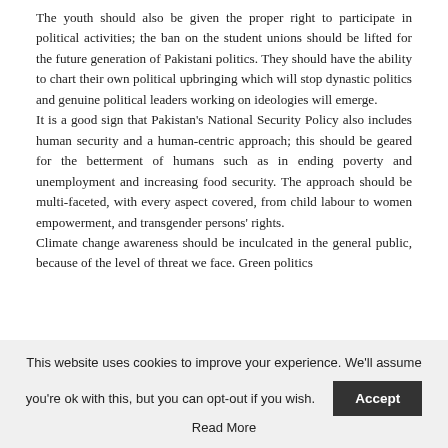The youth should also be given the proper right to participate in political activities; the ban on the student unions should be lifted for the future generation of Pakistani politics. They should have the ability to chart their own political upbringing which will stop dynastic politics and genuine political leaders working on ideologies will emerge.
It is a good sign that Pakistan's National Security Policy also includes human security and a human-centric approach; this should be geared for the betterment of humans such as in ending poverty and unemployment and increasing food security. The approach should be multi-faceted, with every aspect covered, from child labour to women empowerment, and transgender persons' rights.
Climate change awareness should be inculcated in the general public, because of the level of threat we face. Green politics
This website uses cookies to improve your experience. We'll assume you're ok with this, but you can opt-out if you wish.
Accept
Read More